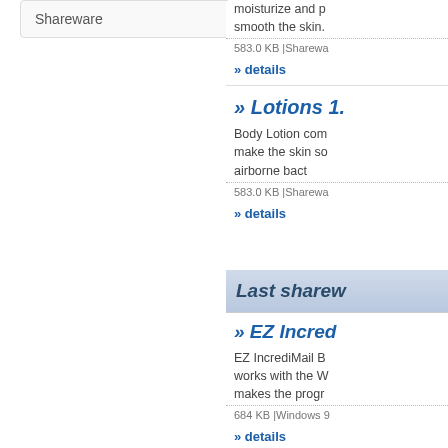Shareware
moisturize and p smooth the skin.
583.0 KB |Sharewa
» details
» Lotions 1.
Body Lotion com make the skin so airborne bact
583.0 KB |Sharewa
» details
Last sharew
» EZ Incred
EZ IncrediMail B works with the W makes the progr
684 KB |Windows 9
» details
» EZ Mozilla
EZ Mozilla Back to CD/DVD and